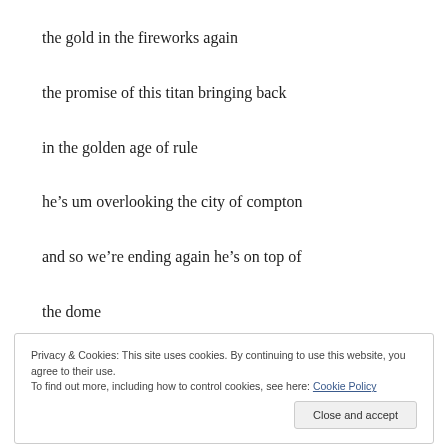the gold in the fireworks again
the promise of this titan bringing back
in the golden age of rule
he’s um overlooking the city of compton
and so we’re ending again he’s on top of
the dome
Privacy & Cookies: This site uses cookies. By continuing to use this website, you agree to their use.
To find out more, including how to control cookies, see here: Cookie Policy
Close and accept